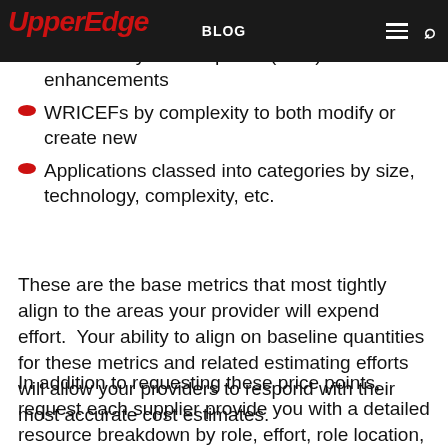UpperEdge | BLOG
Tickets by severity
Business system requests (BSR)/Minor enhancements
WRICEFs by complexity to both modify or create new
Applications classed into categories by size, technology, complexity, etc.
These are the base metrics that most tightly align to the areas your provider will expend effort.  Your ability to align on baseline quantities for these metrics and related estimating efforts will allow your providers to respond with their most accurate cost estimates.
In addition to requesting these price points, request each supplier provide you with a detailed resource breakdown by role, effort, role location, and rate.  This will provide you, or an engaged third-party advisor, the ability to do an